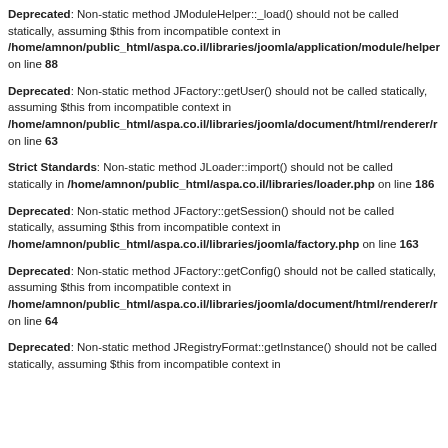Deprecated: Non-static method JModuleHelper::_load() should not be called statically, assuming $this from incompatible context in /home/amnon/public_html/aspa.co.il/libraries/joomla/application/module/helper on line 88
Deprecated: Non-static method JFactory::getUser() should not be called statically, assuming $this from incompatible context in /home/amnon/public_html/aspa.co.il/libraries/joomla/document/html/renderer/r on line 63
Strict Standards: Non-static method JLoader::import() should not be called statically in /home/amnon/public_html/aspa.co.il/libraries/loader.php on line 186
Deprecated: Non-static method JFactory::getSession() should not be called statically, assuming $this from incompatible context in /home/amnon/public_html/aspa.co.il/libraries/joomla/factory.php on line 163
Deprecated: Non-static method JFactory::getConfig() should not be called statically, assuming $this from incompatible context in /home/amnon/public_html/aspa.co.il/libraries/joomla/document/html/renderer/r on line 64
Deprecated: Non-static method JRegistryFormat::getInstance() should not be called statically, assuming $this from incompatible context in